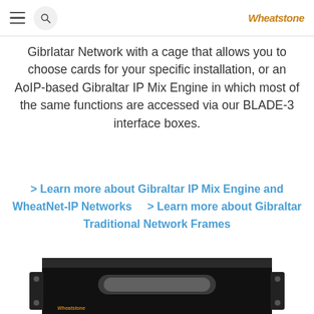≡  🔍  Wheatstone
Gibrlatar Network with a cage that allows you to choose cards for your specific installation, or an AoIP-based Gibraltar IP Mix Engine in which most of the same functions are accessed via our BLADE-3 interface boxes.
> Learn more about Gibraltar IP Mix Engine and WheatNet-IP Networks    > Learn more about Gibraltar Traditional Network Frames
[Figure (photo): Black rack-mounted Wheatstone Gibraltar hardware unit with a front handle and Wheatstone logo on the lower left corner]